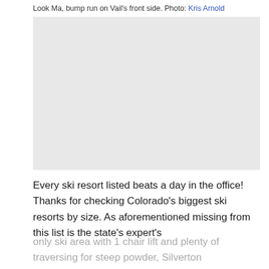Look Ma, bump run on Vail's front side. Photo: Kris Arnold
[Figure (photo): Photograph placeholder showing a bump run on Vail's front side ski slope]
Every ski resort listed beats a day in the office! Thanks for checking Colorado's biggest ski resorts by size. As aforementioned missing from this list is the state's expert's only ski area with 1 chair lift and plenty of traversing for steep powder, Silverton